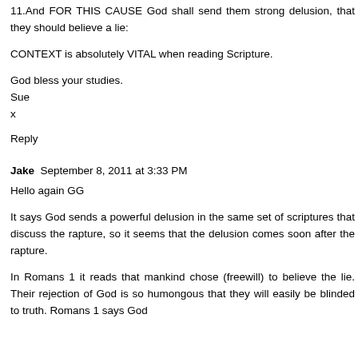11.And FOR THIS CAUSE God shall send them strong delusion, that they should believe a lie:
CONTEXT is absolutely VITAL when reading Scripture.
God bless your studies.
Sue
x
Reply
Jake  September 8, 2011 at 3:33 PM
Hello again GG
It says God sends a powerful delusion in the same set of scriptures that discuss the rapture, so it seems that the delusion comes soon after the rapture.
In Romans 1 it reads that mankind chose (freewill) to believe the lie. Their rejection of God is so humongous that they will easily be blinded to truth. Romans 1 says God